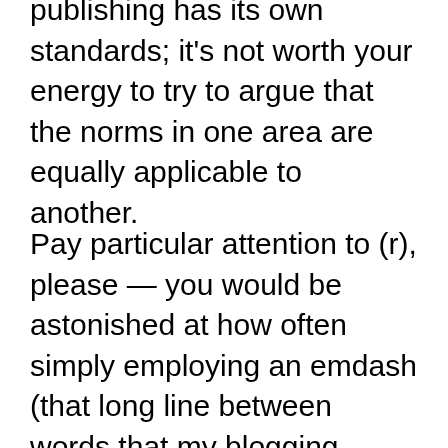publishing has its own standards; it's not worth your energy to try to argue that the norms in one area are equally applicable to another.
Pay particular attention to (r), please — you would be astonished at how often simply employing an emdash (that long line between words that my blogging program favors, much to my chagrin) will set off a red flag for a professional reader. Why? It instantly tells her that the writer is unfamiliar with the rigors of standard format — and thus that the writer will need more coaching than one that is better prepared for professional writing.